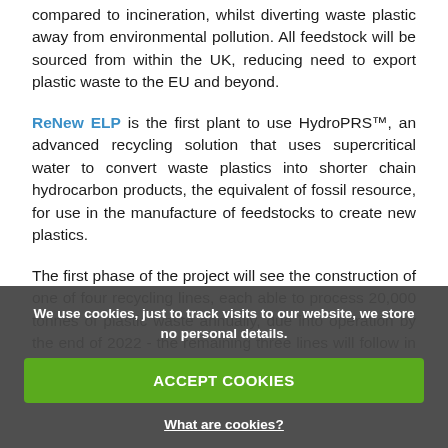compared to incineration, whilst diverting waste plastic away from environmental pollution. All feedstock will be sourced from within the UK, reducing need to export plastic waste to the EU and beyond.
ReNew ELP is the first plant to use HydroPRS™, an advanced recycling solution that uses supercritical water to convert waste plastics into shorter chain hydrocarbon products, the equivalent of fossil resource, for use in the manufacture of feedstocks to create new plastics.
The first phase of the project will see the construction of one of four recycling lines, each able to process 20,000 tonnes of plastic waste annually, due into operation by the end of 2022 - the remaining three lines will follow in quick succession.
We use cookies, just to track visits to our website, we store no personal details.
ACCEPT COOKIES
What are cookies?